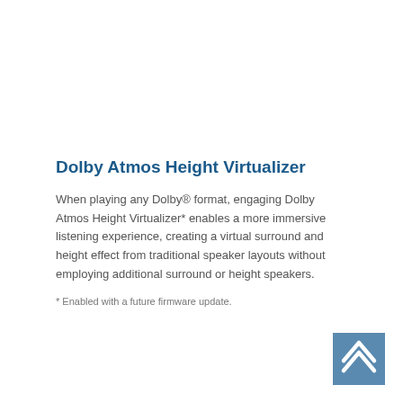Dolby Atmos Height Virtualizer
When playing any Dolby® format, engaging Dolby Atmos Height Virtualizer* enables a more immersive listening experience, creating a virtual surround and height effect from traditional speaker layouts without employing additional surround or height speakers.
* Enabled with a future firmware update.
[Figure (logo): Blue square logo with two overlapping chevron/mountain shapes in white]